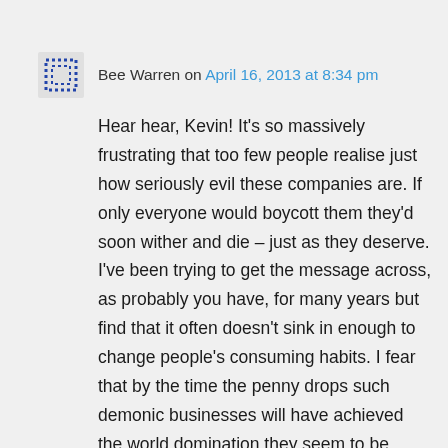Bee Warren on April 16, 2013 at 8:34 pm
Hear hear, Kevin! It's so massively frustrating that too few people realise just how seriously evil these companies are. If only everyone would boycott them they'd soon wither and die – just as they deserve. I've been trying to get the message across, as probably you have, for many years but find that it often doesn't sink in enough to change people's consuming habits. I fear that by the time the penny drops such demonic businesses will have achieved the world domination they seem to be striving for.